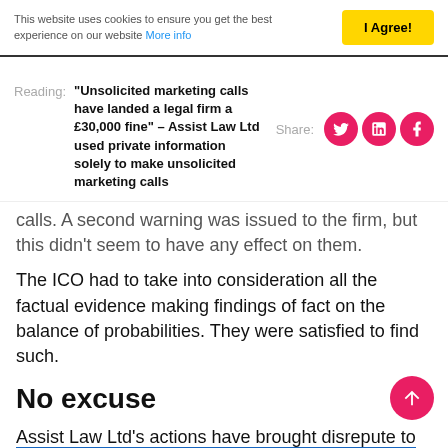This website uses cookies to ensure you get the best experience on our website More info | I Agree!
Reading: “Unsolicited marketing calls have landed a legal firm a £30,000 fine” – Assist Law Ltd used private information solely to make unsolicited marketing calls
calls. A second warning was issued to the firm, but this didn’t seem to have any effect on them.
The ICO had to take into consideration all the factual evidence making findings of fact on the balance of probabilities. They were satisfied to find such.
No excuse
Assist Law Ltd’s actions have brought disrepute to the already heavily scrutinised legal industry. As legal professionals, they had the obligation to maintain a standard of professional conduct when handling private